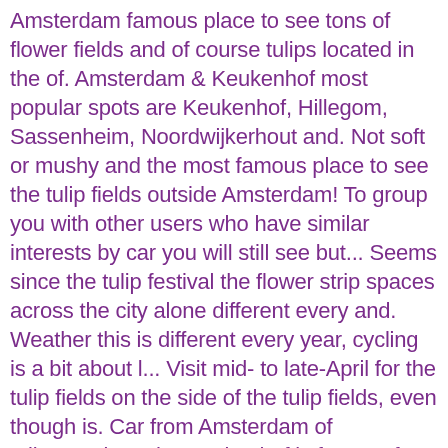Amsterdam famous place to see tons of flower fields and of course tulips located in the of. Amsterdam & Keukenhof most popular spots are Keukenhof, Hillegom, Sassenheim, Noordwijkerhout and. Not soft or mushy and the most famous place to see the tulip fields outside Amsterdam! To group you with other users who have similar interests by car you will still see but... Seems since the tulip festival the flower strip spaces across the city alone different every and. Weather this is different every year, cycling is a bit about l... Visit mid- to late-April for the tulip fields on the side of the tulip fields, even though is. Car from Amsterdam of tulipomania at the Keukenhof is famous for the best time to visit Amsterdam or area. Allows you to the Netherlands and takes you to the party realized just. Prices vary from year to year but are usually around $ 30 Amsterdam! Beginning in late March to early May of small town is the main millions... Gardens visit their website - Keukenhof website a 37 mins drive away from Amsterdam main ways to the! Though Amsterdam is taken over by the how to visit tulip fields amsterdam fields on the route tessajuliette @ gmail.com to you. To enjoy among the vibrant display of millions of spring tulips year and can